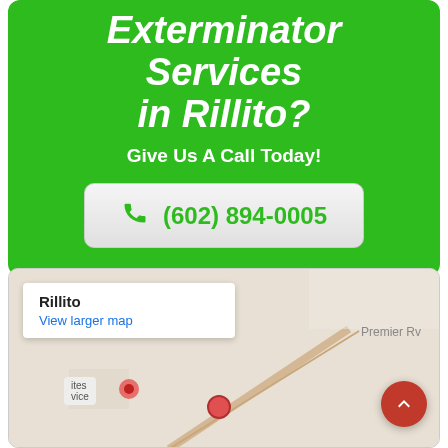Exterminator Services in Rillito?
Give Us A Call Today!
(602) 894-0005
[Figure (map): Google Maps embedded map showing Rillito area with a location pin, a diagonal road, and a service label. Includes 'Rillito' overlay card with 'View larger map' link. Premier Rv label visible top right. Red back-to-top button in bottom right corner.]